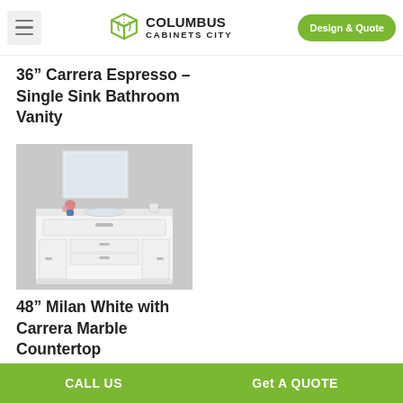Columbus Cabinets City — Design & Quote
36” Carrera Espresso – Single Sink Bathroom Vanity
[Figure (photo): White bathroom vanity with multiple drawers and cabinet doors, a single sink with marble countertop, a rectangular mirror above, and floral decoration. Shown on a light gray background.]
48” Milan White with Carrera Marble Countertop
CALL US    Get A QUOTE